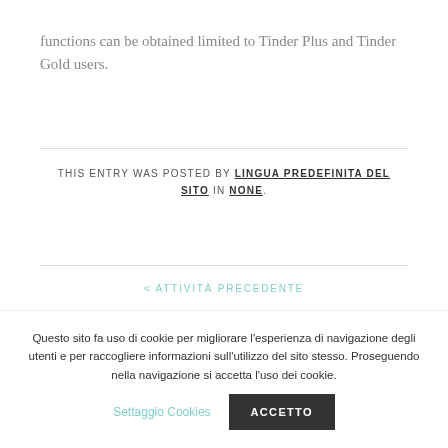functions can be obtained limited to Tinder Plus and Tinder Gold users.
THIS ENTRY WAS POSTED BY LINGUA PREDEFINITA DEL SITO IN NONE.
< ATTIVITÀ PRECEDENTE
Questo sito fa uso di cookie per migliorare l'esperienza di navigazione degli utenti e per raccogliere informazioni sull'utilizzo del sito stesso. Proseguendo nella navigazione si accetta l'uso dei cookie.
Settaggio Cookies
ACCETTO